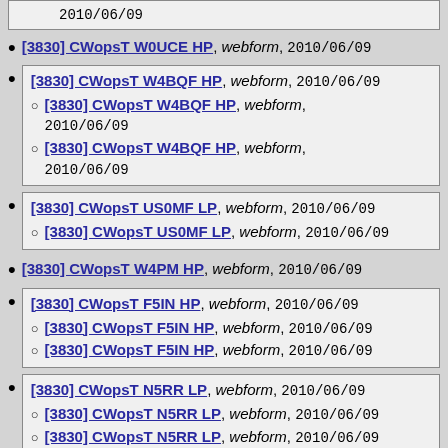[3830] CWopsT W0UCE HP, webform, 2010/06/09 (top box partial)
[3830] CWopsT W0UCE HP, webform, 2010/06/09
[3830] CWopsT W4BQF HP, webform, 2010/06/09
  - [3830] CWopsT W4BQF HP, webform, 2010/06/09
  - [3830] CWopsT W4BQF HP, webform, 2010/06/09
[3830] CWopsT US0MF LP, webform, 2010/06/09
  - [3830] CWopsT US0MF LP, webform, 2010/06/09
[3830] CWopsT W4PM HP, webform, 2010/06/09
[3830] CWopsT F5IN HP, webform, 2010/06/09
  - [3830] CWopsT F5IN HP, webform, 2010/06/09
  - [3830] CWopsT F5IN HP, webform, 2010/06/09
[3830] CWopsT N5RR LP, webform, 2010/06/09
  - [3830] CWopsT N5RR LP, webform, 2010/06/09
  - [3830] CWopsT N5RR LP, webform, 2010/06/09
[3830] CWopsT W2RU HP, webform, 2010/06/09
[3830] CWopsT UR5MM LP, webform, 2010/06/09